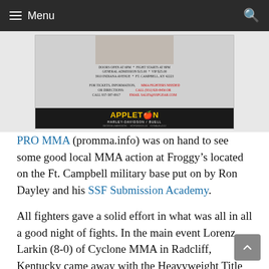Menu
[Figure (photo): Appleton Harley-Davidson/Buell event flyer for an MMA event at Froggy's, Ft. Campbell, KY 42223. Doors open at 6PM, Fight starts at 8PM. General Admission $15.00, VIP $25.00. 3910 Indiana Avenue.]
PRO MMA (promma.info) was on hand to see some good local MMA action at Froggy’s located on the Ft. Campbell military base put on by Ron Dayley and his SSF Submission Academy.
All fighters gave a solid effort in what was all in all a good night of fights. In the main event Lorenz Larkin (8-0) of Cyclone MMA in Radcliff, Kentucky came away with the Heavyweight Title with a KO of a game Osazee Obaysi of Supreme